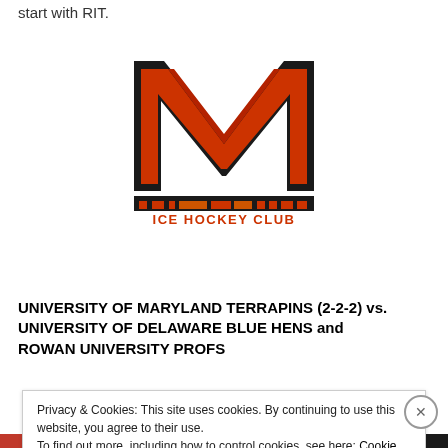start with RIT.
[Figure (logo): University of Maryland Terrapins Ice Hockey Club logo — large red M with black outline above a decorative band and the text ICE HOCKEY CLUB in orange]
UNIVERSITY OF MARYLAND TERRAPINS (2-2-2) vs. UNIVERSITY OF DELAWARE BLUE HENS and ROWAN UNIVERSITY PROFS
Privacy & Cookies: This site uses cookies. By continuing to use this website, you agree to their use.
To find out more, including how to control cookies, see here: Cookie Policy
Close and accept